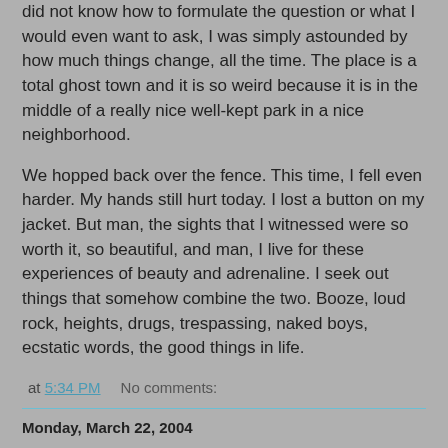did not know how to formulate the question or what I would even want to ask, I was simply astounded by how much things change, all the time. The place is a total ghost town and it is so weird because it is in the middle of a really nice well-kept park in a nice neighborhood.
We hopped back over the fence. This time, I fell even harder. My hands still hurt today. I lost a button on my jacket. But man, the sights that I witnessed were so worth it, so beautiful, and man, I live for these experiences of beauty and adrenaline. I seek out things that somehow combine the two. Booze, loud rock, heights, drugs, trespassing, naked boys, ecstatic words, the good things in life.
at 5:34 PM    No comments:
Monday, March 22, 2004
The sky looks so deceptively nice from in here, from the warm side of the windows, but I have read the weather, know that it is 27 degrees and really do not want to leave the